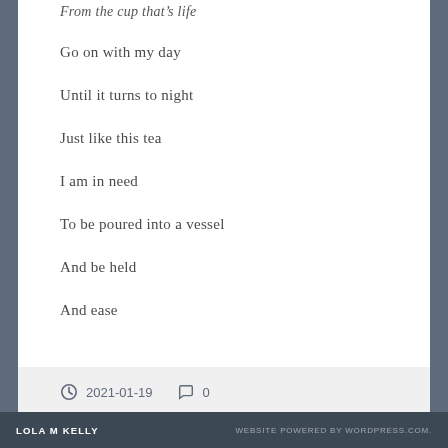From the cup that's life
Go on with my day
Until it turns to night
Just like this tea
I am in need
To be poured into a vessel
And be held
And ease
2021-01-19   0   LOLA M KELLY   WEBSITE POWERED BY WORDPRESS.COM.